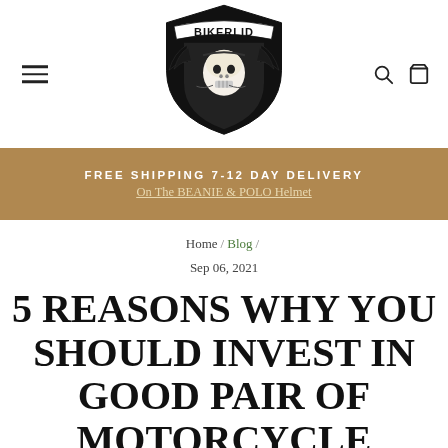BIKERLID — navigation header with hamburger menu, logo, search and cart icons
FREE SHIPPING 7-12 DAY DELIVERY
On The BEANIE & POLO Helmet
Home / Blog /
Sep 06, 2021
5 REASONS WHY YOU SHOULD INVEST IN GOOD PAIR OF MOTORCYCLE GLASSES